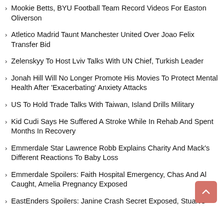Mookie Betts, BYU Football Team Record Videos For Easton Oliverson
Atletico Madrid Taunt Manchester United Over Joao Felix Transfer Bid
Zelenskyy To Host Lviv Talks With UN Chief, Turkish Leader
Jonah Hill Will No Longer Promote His Movies To Protect Mental Health After 'Exacerbating' Anxiety Attacks
US To Hold Trade Talks With Taiwan, Island Drills Military
Kid Cudi Says He Suffered A Stroke While In Rehab And Spent Months In Recovery
Emmerdale Star Lawrence Robb Explains Charity And Mack's Different Reactions To Baby Loss
Emmerdale Spoilers: Faith Hospital Emergency, Chas And Al Caught, Amelia Pregnancy Exposed
EastEnders Spoilers: Janine Crash Secret Exposed, Stuart's